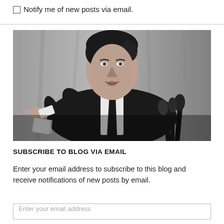Notify me of new posts via email.
[Figure (photo): Black and white photograph of a man in a dark suit and tie, pointing forward toward the viewer with his right hand, speaking at a podium with microphones. He has dark hair swept back and appears to be mid-speech.]
SUBSCRIBE TO BLOG VIA EMAIL
Enter your email address to subscribe to this blog and receive notifications of new posts by email.